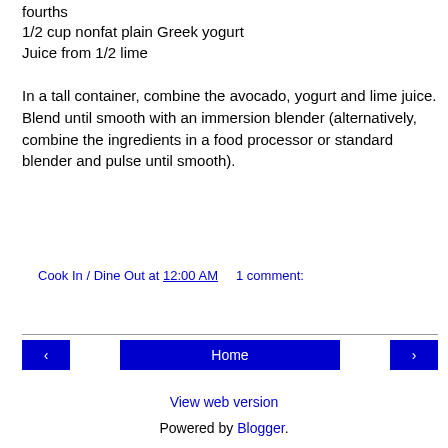fourths
1/2 cup nonfat plain Greek yogurt
Juice from 1/2 lime
In a tall container, combine the avocado, yogurt and lime juice. Blend until smooth with an immersion blender (alternatively, combine the ingredients in a food processor or standard blender and pulse until smooth).
Cook In / Dine Out at 12:00 AM    1 comment:
Share
Home
View web version
Powered by Blogger.